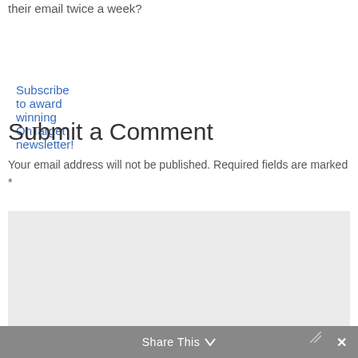their email twice a week?
Subscribe to award winning OnTarget newsletter!
Submit a Comment
Your email address will not be published. Required fields are marked *
Comment *
Share This